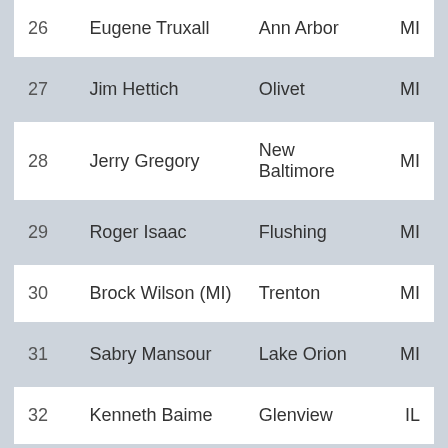| # | Name | City | State |
| --- | --- | --- | --- |
| 26 | Eugene Truxall | Ann Arbor | MI |
| 27 | Jim Hettich | Olivet | MI |
| 28 | Jerry Gregory | New Baltimore | MI |
| 29 | Roger Isaac | Flushing | MI |
| 30 | Brock Wilson (MI) | Trenton | MI |
| 31 | Sabry Mansour | Lake Orion | MI |
| 32 | Kenneth Baime | Glenview | IL |
| 33 | Frank Galilei | Roanoke | IN |